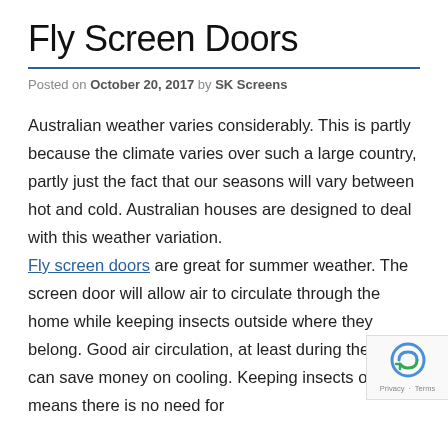Fly Screen Doors
Posted on October 20, 2017 by SK Screens
Australian weather varies considerably. This is partly because the climate varies over such a large country, partly just the fact that our seasons will vary between hot and cold. Australian houses are designed to deal with this weather variation.
Fly screen doors are great for summer weather. The screen door will allow air to circulate through the home while keeping insects outside where they belong. Good air circulation, at least during the day, can save money on cooling. Keeping insects outside means there is no need for